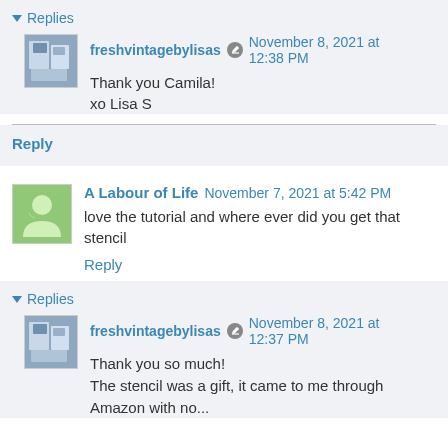▼ Replies
freshvintagebylisas  November 8, 2021 at 12:38 PM
Thank you Camila!
xo Lisa S
Reply
A Labour of Life  November 7, 2021 at 5:42 PM
love the tutorial and where ever did you get that stencil
Reply
▼ Replies
freshvintagebylisas  November 8, 2021 at 12:37 PM
Thank you so much!
The stencil was a gift, it came to me through Amazon with no...